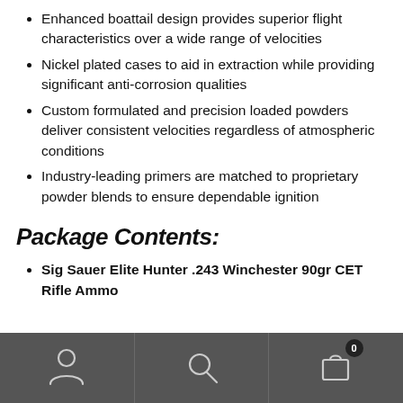Enhanced boattail design provides superior flight characteristics over a wide range of velocities
Nickel plated cases to aid in extraction while providing significant anti-corrosion qualities
Custom formulated and precision loaded powders deliver consistent velocities regardless of atmospheric conditions
Industry-leading primers are matched to proprietary powder blends to ensure dependable ignition
Package Contents:
Sig Sauer Elite Hunter .243 Winchester 90gr CET Rifle Ammo
[Figure (screenshot): Mobile app bottom navigation bar with user account icon, search icon, and shopping cart icon with badge showing 0]